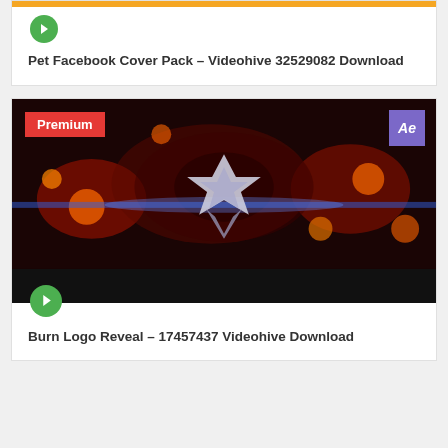[Figure (screenshot): Card with orange top bar and green play button, partial card visible at top]
Pet Facebook Cover Pack – Videohive 32529082 Download
[Figure (screenshot): Video thumbnail showing fiery burn logo reveal animation with star/diamond logo, Premium badge in red top-left, After Effects purple badge top-right, green play button at bottom]
Burn Logo Reveal – 17457437 Videohive Download